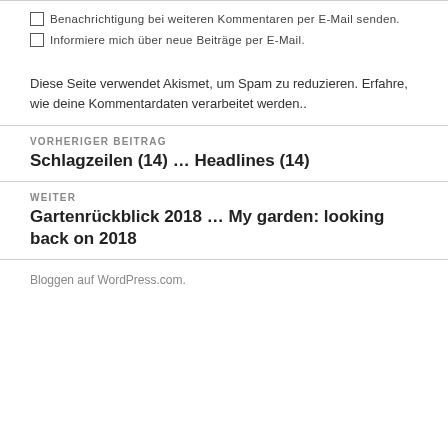Benachrichtigung bei weiteren Kommentaren per E-Mail senden.
Informiere mich über neue Beiträge per E-Mail.
Diese Seite verwendet Akismet, um Spam zu reduzieren. Erfahre, wie deine Kommentardaten verarbeitet werden..
VORHERIGER BEITRAG
Schlagzeilen (14) … Headlines (14)
WEITER
Gartenrückblick 2018 … My garden: looking back on 2018
Bloggen auf WordPress.com.